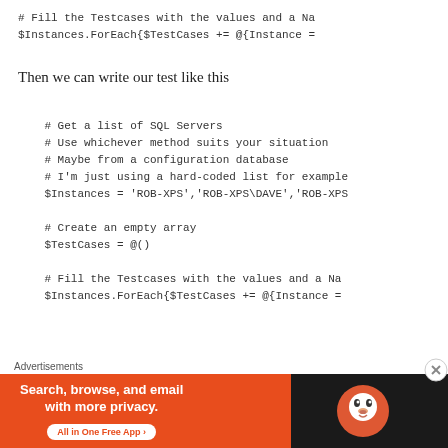# Fill the Testcases with the values and a Na
$Instances.ForEach{$TestCases += @{Instance =
Then we can write our test like this
# Get a list of SQL Servers
# Use whichever method suits your situation
# Maybe from a configuration database
# I'm just using a hard-coded list for example
$Instances = 'ROB-XPS','ROB-XPS\DAVE','ROB-XPS

# Create an empty array
$TestCases = @()

# Fill the Testcases with the values and a Na
$Instances.ForEach{$TestCases += @{Instance =